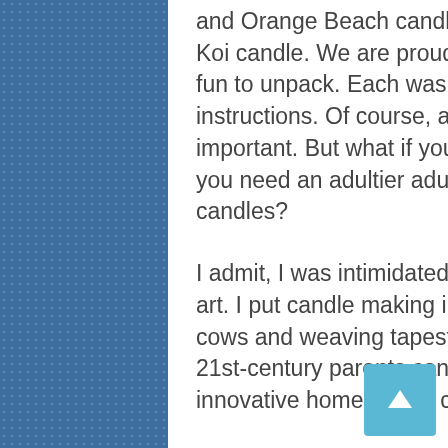and Orange Beach candles, while I made a stunning Blue Koi candle. We are proud of the final results. The kits were fun to unpack. Each was well-organized with step-by-step instructions. Of course, adult supervision is critically important. But what if you are the adult and you feel like you need an adultier adult to supervise you as you make candles?
I admit, I was intimidated by what seemed like a throwback art. I put candle making in the same category as milking cows and weaving tapestries. But, I promise that even 21st-century parents can guide their kids through this innovative home-based candle making experience.
Before you get your own kits for your